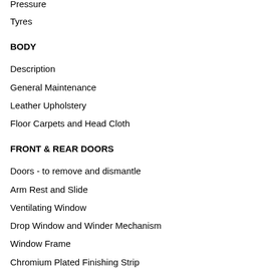Pressure
Tyres
BODY
Description
General Maintenance
Leather Upholstery
Floor Carpets and Head Cloth
FRONT & REAR DOORS
Doors - to remove and dismantle
Arm Rest and Slide
Ventilating Window
Drop Window and Winder Mechanism
Window Frame
Chromium Plated Finishing Strip